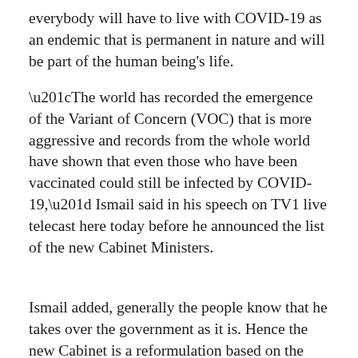everybody will have to live with COVID-19 as an endemic that is permanent in nature and will be part of the human being's life.
“The world has recorded the emergence of the Variant of Concern (VOC) that is more aggressive and records from the whole world have shown that even those who have been vaccinated could still be infected by COVID-19,” Ismail said in his speech on TV1 live telecast here today before he announced the list of the new Cabinet Ministers.
Ismail added, generally the people know that he takes over the government as it is. Hence the new Cabinet is a reformulation based on the current situation for maintaining the stability and prioritising the